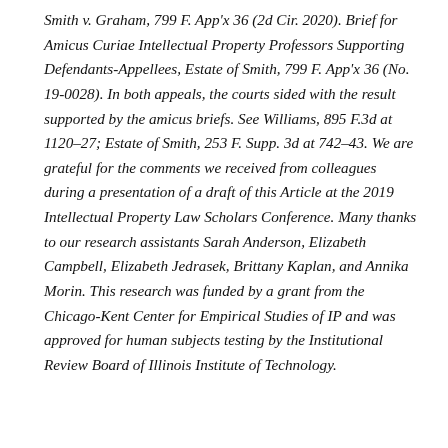Smith v. Graham, 799 F. App'x 36 (2d Cir. 2020). Brief for Amicus Curiae Intellectual Property Professors Supporting Defendants-Appellees, Estate of Smith, 799 F. App'x 36 (No. 19-0028). In both appeals, the courts sided with the result supported by the amicus briefs. See Williams, 895 F.3d at 1120–27; Estate of Smith, 253 F. Supp. 3d at 742–43. We are grateful for the comments we received from colleagues during a presentation of a draft of this Article at the 2019 Intellectual Property Law Scholars Conference. Many thanks to our research assistants Sarah Anderson, Elizabeth Campbell, Elizabeth Jedrasek, Brittany Kaplan, and Annika Morin. This research was funded by a grant from the Chicago-Kent Center for Empirical Studies of IP and was approved for human subjects testing by the Institutional Review Board of Illinois Institute of Technology.